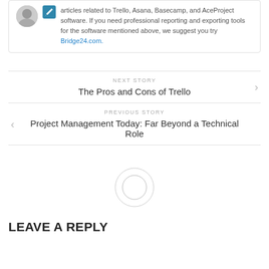articles related to Trello, Asana, Basecamp, and AceProject software. If you need professional reporting and exporting tools for the software mentioned above, we suggest you try Bridge24.com.
NEXT STORY
The Pros and Cons of Trello
PREVIOUS STORY
Project Management Today: Far Beyond a Technical Role
[Figure (illustration): Circular avatar placeholder with an outer ring and inner circle]
LEAVE A REPLY